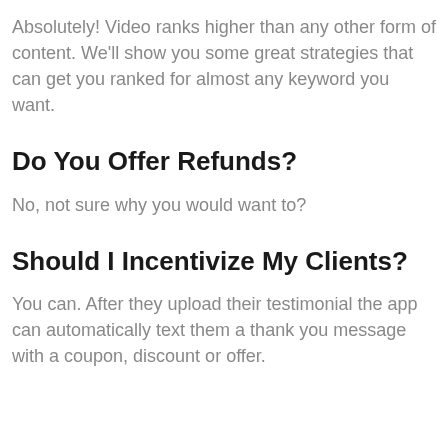Absolutely! Video ranks higher than any other form of content. We'll show you some great strategies that can get you ranked for almost any keyword you want.
Do You Offer Refunds?
No, not sure why you would want to?
Should I Incentivize My Clients?
You can. After they upload their testimonial the app can automatically text them a thank you message with a coupon, discount or offer.